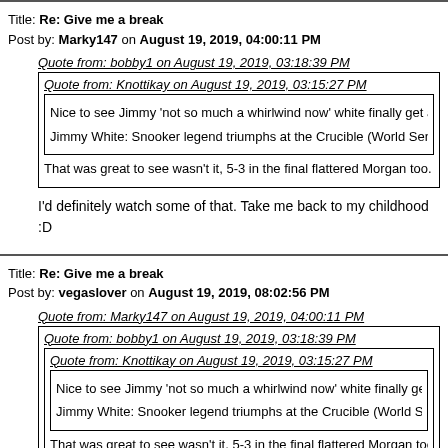Title: Re: Give me a break
Post by: Marky147 on August 19, 2019, 04:00:11 PM
Quote from: bobby1 on August 19, 2019, 03:18:39 PM
Quote from: Knottikay on August 19, 2019, 03:15:27 PM
Nice to see Jimmy 'not so much a whirlwind now' white finally get a Crucible Title....
Jimmy White: Snooker legend triumphs at the Crucible (World Seniors Event) - at last
That was great to see wasn't it, 5-3 in the final flattered Morgan too. Deffo think Seniors sno
I'd definitely watch some of that. Take me back to my childhood :D
Title: Re: Give me a break
Post by: vegaslover on August 19, 2019, 08:02:56 PM
Quote from: Marky147 on August 19, 2019, 04:00:11 PM
Quote from: bobby1 on August 19, 2019, 03:18:39 PM
Quote from: Knottikay on August 19, 2019, 03:15:27 PM
Nice to see Jimmy 'not so much a whirlwind now' white finally get a Crucible Title....
Jimmy White: Snooker legend triumphs at the Crucible (World Seniors Event) - at last
That was great to see wasn't it, 5-3 in the final flattered Morgan too. Deffo think Seniors sne
I'd definitely watch some of that. Take me back to my childhood :D
Was flicking through the channels and caught some of the Hendry Drag John Virgo MC, looking frail. Drago has lost a lot of weight following his Like watching snooker in the 80s, bit more safety, few more misses and